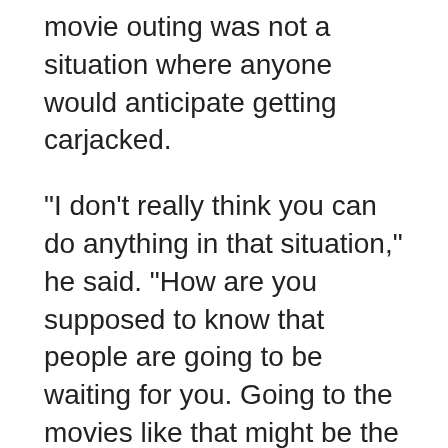movie outing was not a situation where anyone would anticipate getting carjacked.
"I don't really think you can do anything in that situation," he said. "How are you supposed to know that people are going to be waiting for you. Going to the movies like that might be the last place I'd think somebody would come. You have to be alert but I don't think there's much you can do if someone comes after you like that."
Marner and his teammates crashed out of the NHL playoffs on Saturday night with a heartbreaking 2-1 loss in Game 7 against the Tampa Bay Lightning.
Speaking about the end of the team's season,